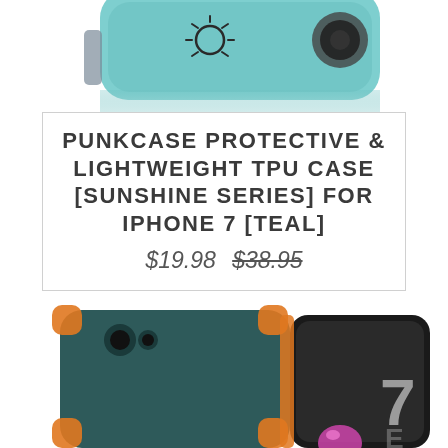[Figure (photo): Top portion of a teal/light blue PunkCase iPhone case viewed from the top, showing the PunkCase logo and camera cutout area on a white background.]
PUNKCASE PROTECTIVE & LIGHTWEIGHT TPU CASE [SUNSHINE SERIES] FOR IPHONE 7 [TEAL]
$19.98 $38.95
[Figure (photo): Dark teal and orange PunkCase protective case for iPhone 7 shown from the back and side angle, with orange corner bumpers and a phone screen showing the number 7 and a pink sphere.]